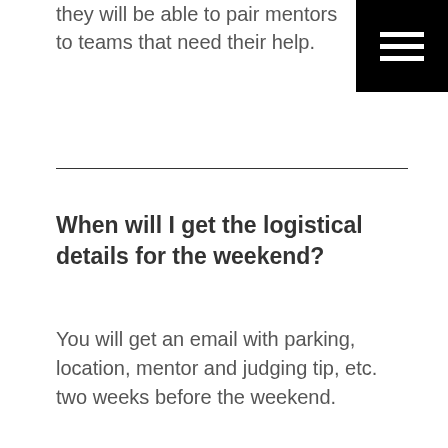they will be able to pair mentors to teams that need their help.
[Figure (other): Hamburger menu icon button - black square with three white horizontal lines]
When will I get the logistical details for the weekend?
You will get an email with parking, location, mentor and judging tip, etc. two weeks before the weekend.